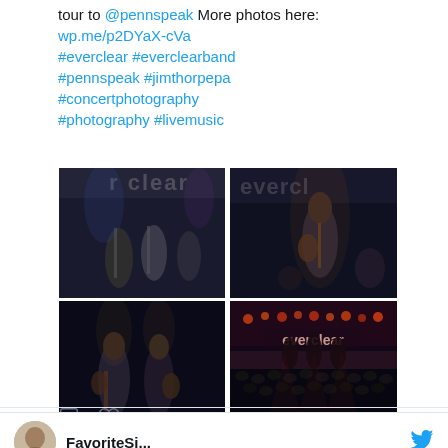tour to @pennspeak  More photos here: wp.me/p2DYaX-cVa #everclear #everclearband #pennspeak #jimthorpepa #concertphotography #photography #livemusic
[Figure (photo): Four concert photos in a 2x2 grid showing band Everclear performing on stage. Top-left: band members playing with Everclear backdrop. Top-right: guitarist playing with Everclear backdrop. Bottom-left: two musicians playing. Bottom-right: wide crowd shot with Everclear sign lit up on stage.]
1 like, reply and like icons
FavoriteSi...